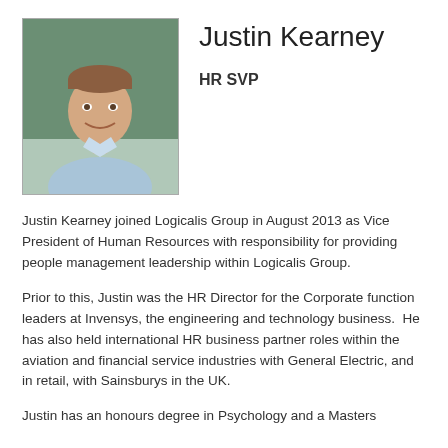[Figure (photo): Headshot photo of Justin Kearney, a man in a light blue shirt, smiling, against a green/grey background]
Justin Kearney
HR SVP
Justin Kearney joined Logicalis Group in August 2013 as Vice President of Human Resources with responsibility for providing people management leadership within Logicalis Group.
Prior to this, Justin was the HR Director for the Corporate function leaders at Invensys, the engineering and technology business.  He has also held international HR business partner roles within the aviation and financial service industries with General Electric, and in retail, with Sainsburys in the UK.
Justin has an honours degree in Psychology and a Masters